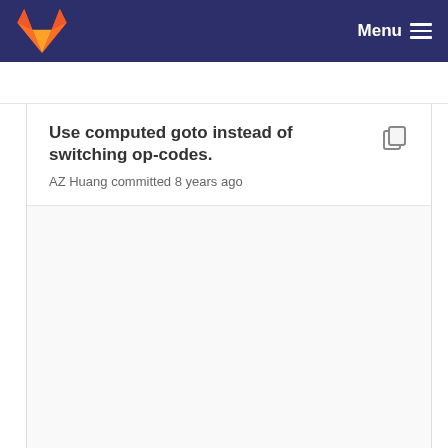Menu
Use computed goto instead of switching op-codes. AZ Huang committed 8 years ago